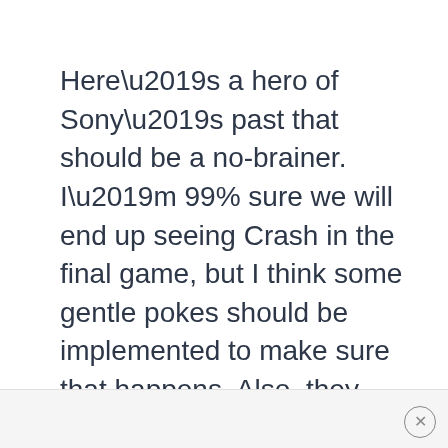Here’s a hero of Sony’s past that should be a no-brainer. I’m 99% sure we will end up seeing Crash in the final game, but I think some gentle pokes should be implemented to make sure that happens. Also, they should be making more Crash Bandicoot games in general.